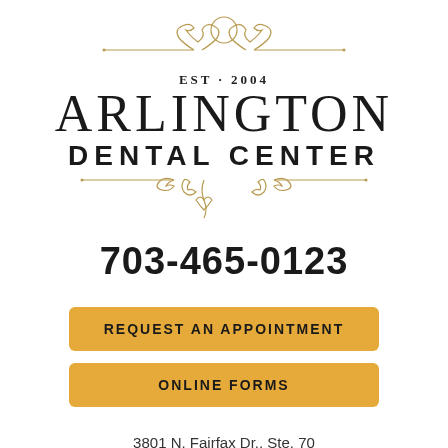[Figure (logo): Arlington Dental Center logo with ornamental flourishes, tooth icon, EST. 2004 text, and decorative scrollwork borders]
703-465-0123
REQUEST AN APPOINTMENT
ONLINE FORMS
3801 N. Fairfax Dr., Ste. 70
Arlington, VA 22203